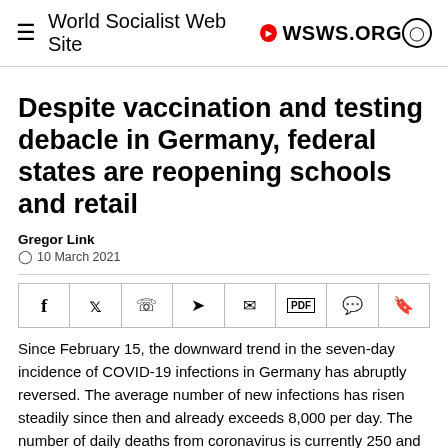World Socialist Web Site • WSWS.ORG
Despite vaccination and testing debacle in Germany, federal states are reopening schools and retail
Gregor Link
10 March 2021
[Figure (other): Social sharing buttons bar: Facebook, Twitter, WhatsApp, Telegram, Email, PDF, Comment, Bookmark]
Since February 15, the downward trend in the seven-day incidence of COVID-19 infections in Germany has abruptly reversed. The average number of new infections has risen steadily since then and already exceeds 8,000 per day. The number of daily deaths from coronavirus is currently 250 and will rise sharply in coming weeks as the